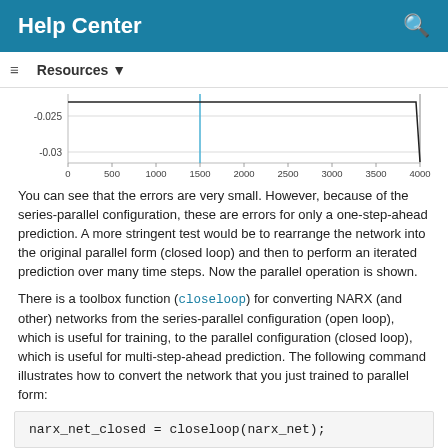Help Center
[Figure (continuous-plot): Partial line chart showing y-axis values -0.025 and -0.03, x-axis from 0 to 4000 (ticks at 500 intervals). A vertical blue line at x=1500 and a black line near x=4000 are visible.]
You can see that the errors are very small. However, because of the series-parallel configuration, these are errors for only a one-step-ahead prediction. A more stringent test would be to rearrange the network into the original parallel form (closed loop) and then to perform an iterated prediction over many time steps. Now the parallel operation is shown.
There is a toolbox function (closeloop) for converting NARX (and other) networks from the series-parallel configuration (open loop), which is useful for training, to the parallel configuration (closed loop), which is useful for multi-step-ahead prediction. The following command illustrates how to convert the network that you just trained to parallel form: